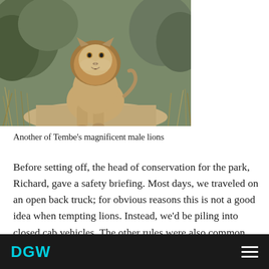[Figure (photo): A male lion walking directly toward the camera on a sandy path, surrounded by dry scrub brush and vegetation. The lion has a medium-length mane and is captured in a wildlife park setting.]
Another of Tembe’s magnificent male lions
Before setting off, the head of conservation for the park, Richard, gave a safety briefing. Most days, we traveled on an open back truck; for obvious reasons this is not a good idea when tempting lions. Instead, we’d be piling into closed cab vehicles. The other rules were also common sense – pay attention at all times, don’t wander off, no
DGW